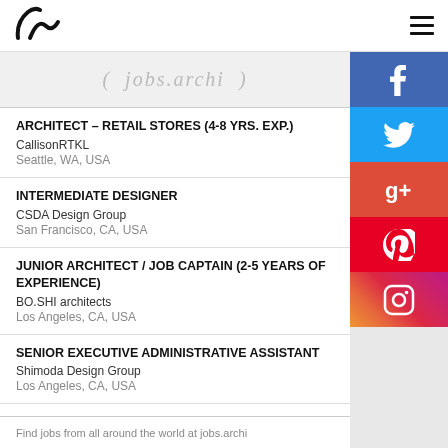jobs.archi
[Figure (logo): jobs.archi website logo banner strip]
ARCHITECT – RETAIL STORES (4-8 YRS. EXP.)
CallisonRTKL
Seattle, WA, USA
INTERMEDIATE DESIGNER
CSDA Design Group
San Francisco, CA, USA
JUNIOR ARCHITECT / JOB CAPTAIN (2-5 YEARS OF EXPERIENCE)
BO.SHI architects
Los Angeles, CA, USA
SENIOR EXECUTIVE ADMINISTRATIVE ASSISTANT
Shimoda Design Group
Los Angeles, CA, USA
DEVELOPMENT AND DATABASE COORDINATOR
Find jobs from all around the world at jobs.archi